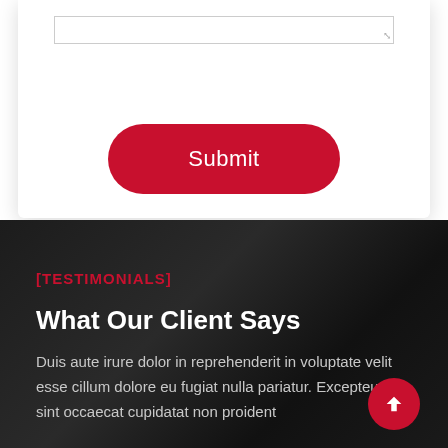[Figure (screenshot): White card section with a textarea input (with resize handle) and a red rounded Submit button centered below it]
[TESTIMONIALS]
What Our Client Says
Duis aute irure dolor in reprehenderit in voluptate velit esse cillum dolore eu fugiat nulla pariatur. Excepteur sint occaecat cupidatat non proident